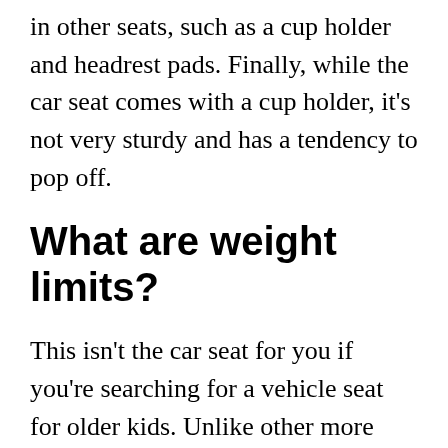in other seats, such as a cup holder and headrest pads. Finally, while the car seat comes with a cup holder, it's not very sturdy and has a tendency to pop off.
What are weight limits?
This isn't the car seat for you if you're searching for a vehicle seat for older kids. Unlike other more expensive convertibles that can accommodate up to 60 and 70 pounds, the maximum weight restriction on the Cosco is 40 pounds. This seat is meant for smaller children and infants. The harness system is five-point and the